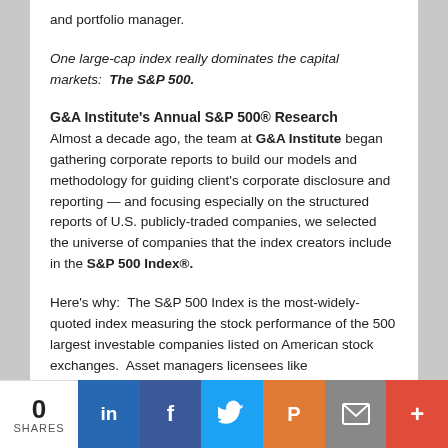and portfolio manager.
One large-cap index really dominates the capital markets:  The S&P 500.
G&A Institute's Annual S&P 500® Research
Almost a decade ago, the team at G&A Institute began gathering corporate reports to build our models and methodology for guiding client's corporate disclosure and reporting — and focusing especially on the structured reports of U.S. publicly-traded companies, we selected the universe of companies that the index creators include in the S&P 500 Index®.
Here's why:  The S&P 500 Index is the most-widely-quoted index measuring the stock performance of the 500 largest investable companies listed on American stock exchanges.  Asset managers licensees like
[Figure (infographic): Social share bar at bottom: showing 0 SHARES count, followed by LinkedIn, Facebook, Twitter, Pocket, Email, and More (+) share buttons in colored blocks.]